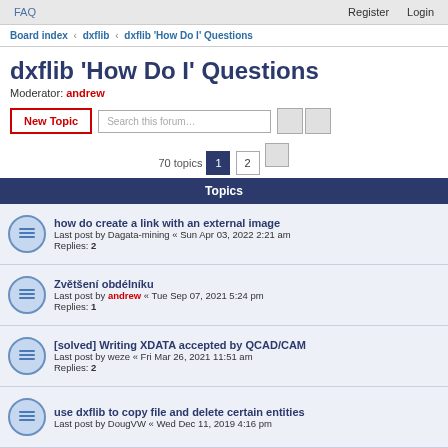FAQ | Register | Login
Board index › dxflib › dxflib 'How Do I' Questions
dxflib 'How Do I' Questions
Moderator: andrew
70 topics  1  2
Topics
how do create a link with an external image
Last post by Dagata-mining « Sun Apr 03, 2022 2:21 am
Replies: 2
Zvětšení obdélníku
Last post by andrew « Tue Sep 07, 2021 5:24 pm
Replies: 1
[solved] Writing XDATA accepted by QCAD/CAM
Last post by weze « Fri Mar 26, 2021 11:51 am
Replies: 2
use dxflib to copy file and delete certain entities
Last post by DougVW « Wed Dec 11, 2019 4:16 pm